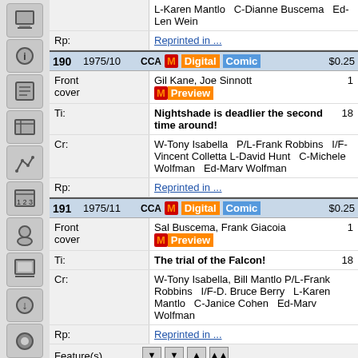| Issue | Year | Meta | Price |
| --- | --- | --- | --- |
|  |  | L-Karen Mantlo  C-Dianne Buscema  Ed-Len Wein |  |
|  | Rp: | Reprinted in ... |  |
| 190 | 1975/10 | CCA M Digital Comic | $0.25 |
|  | Front cover | Gil Kane, Joe Sinnott / M Preview | 1 |
|  | Ti: | Nightshade is deadlier the second time around! | 18 |
|  | Cr: | W-Tony Isabella  P/L-Frank Robbins  I/F-Vincent Colletta  L-David Hunt  C-Michele Wolfman  Ed-Marv Wolfman |  |
|  | Rp: | Reprinted in ... |  |
| 191 | 1975/11 | CCA M Digital Comic | $0.25 |
|  | Front cover | Sal Buscema, Frank Giacoia / M Preview | 1 |
|  | Ti: | The trial of the Falcon! | 18 |
|  | Cr: | W-Tony Isabella, Bill Mantlo  P/L-Frank Robbins  I/F-D. Bruce Berry  L-Karen Mantlo  C-Janice Cohen  Ed-Marv Wolfman |  |
|  | Rp: | Reprinted in ... |  |
|  | Feature(s) | [arrows] |  |
| 192 | 1975/12 | CCA M Digital Comic | $0.25 |